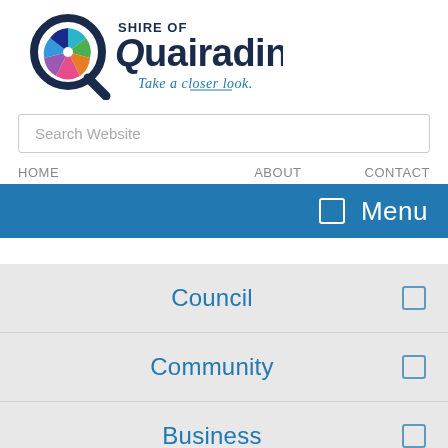[Figure (logo): Shire of Quairading logo with magnifying glass over colourful feather/fan design, tagline 'Take a closer look.']
Search Website
HOME    ABOUT    CONTACT
☰  Menu
Council
Community
Business